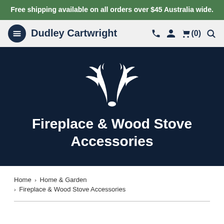Free shipping available on all orders over $45 Australia wide.
Dudley Cartwright
[Figure (logo): Dudley Cartwright antler logo — white antler silhouette on dark navy background]
Fireplace & Wood Stove Accessories
Home > Home & Garden > Fireplace & Wood Stove Accessories